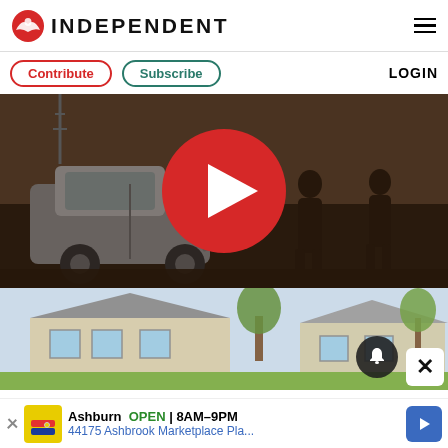INDEPENDENT
Contribute   Subscribe   LOGIN
[Figure (screenshot): Dark sepia-toned video thumbnail showing a car on the left and silhouettes of people on the right, with a large red circular play button in the center.]
[Figure (photo): Photo of a suburban house exterior with trees, a woman visible in the foreground, and a dark notification bell button and white X close button overlaid on the right side.]
Ashburn  OPEN  8AM-9PM
44175 Ashbrook Marketplace Pla...